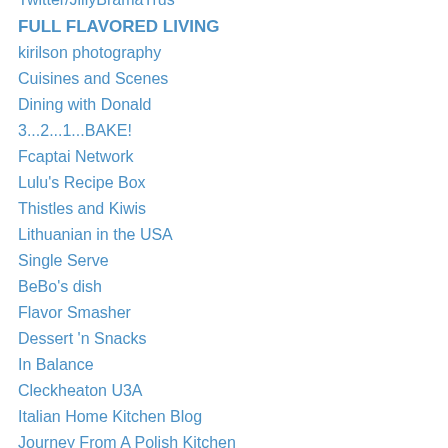Twitter/JillyBramaTrus
FULL FLAVORED LIVING
kirilson photography
Cuisines and Scenes
Dining with Donald
3...2...1...BAKE!
Fcaptai Network
Lulu's Recipe Box
Thistles and Kiwis
Lithuanian in the USA
Single Serve
BeBo's dish
Flavor Smasher
Dessert 'n Snacks
In Balance
Cleckheaton U3A
Italian Home Kitchen Blog
Journey From A Polish Kitchen
ourlittlehouseinfrance